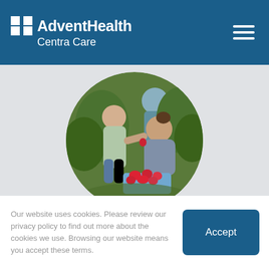AdventHealth Centra Care
[Figure (photo): Circular photo of a young child feeding a strawberry to a smiling woman crouching in a garden/farm setting, with green plants in the background and a crate of strawberries]
Blog
Your Summer Safety Essentials
Our website uses cookies. Please review our privacy policy to find out more about the cookies we use. Browsing our website means you accept these terms.
Accept